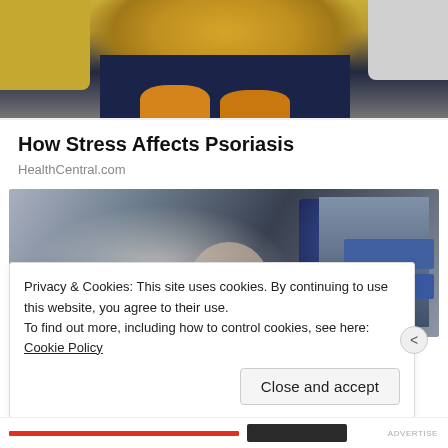[Figure (photo): Cropped photo showing a person sitting on a couch wearing a yellow sweater and yellow socks, with yellow and white pillows visible in the background.]
How Stress Affects Psoriasis
HealthCentral.com
[Figure (photo): Blurred/faded photo of a woman shopping in a store aisle with shelves of products visible in the background.]
Privacy & Cookies: This site uses cookies. By continuing to use this website, you agree to their use.
To find out more, including how to control cookies, see here: Cookie Policy

[Close and accept]